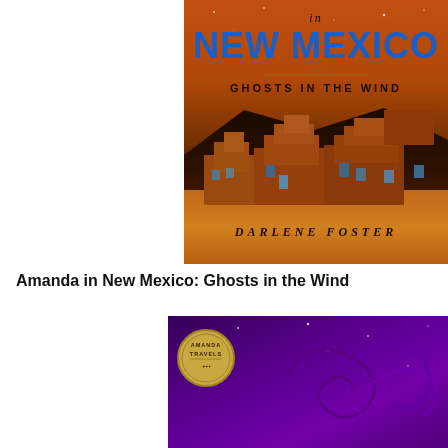[Figure (illustration): Book cover for 'Amanda in New Mexico: Ghosts in the Wind' by Darlene Foster. Orange/sunset background with adobe pueblo buildings, blue title text reading 'New Mexico', subtitle 'Ghosts in the Wind', and author name 'Darlene Foster' at bottom.]
Amanda in New Mexico: Ghosts in the Wind
[Figure (illustration): Bottom portion of another book cover in dark purple/violet tones with swirling decorative elements and an 'Amanda Travels' badge/medallion in the upper left.]